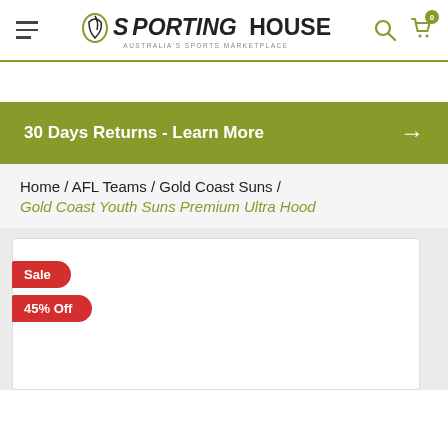Sporting House - Australia's Sports Marketplace
30 Days Returns - Learn More →
Home / AFL Teams / Gold Coast Suns /
Gold Coast Youth Suns Premium Ultra Hood
[Figure (other): Product image area with Sale and 45% Off badge tags on a white product card]
Sale
45% Off